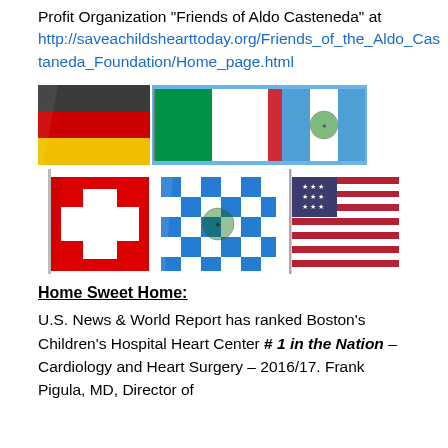Profit Organization "Friends of Aldo Casteneda" at http://saveachildshearttoday.org/Friends_of_the_Aldo_Castaneda_Foundation/Home_page.html
[Figure (photo): Six national flags arranged in two rows: top row shows German flag, Italian flag, and Guatemala flag; bottom row shows Swiss flag, Bavaria flag, and American flag]
Home Sweet Home:
U.S. News & World Report has ranked Boston's Children's Hospital Heart Center # 1 in the Nation – Cardiology and Heart Surgery – 2016/17. Frank Pigula, MD, Director of